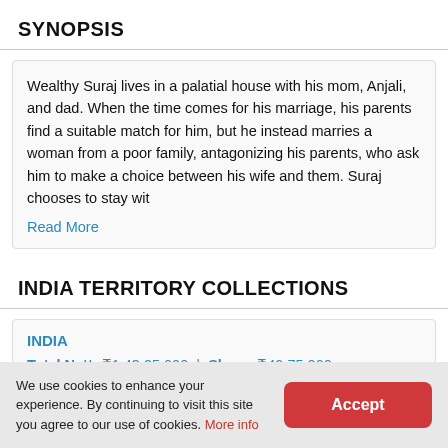SYNOPSIS
Wealthy Suraj lives in a palatial house with his mom, Anjali, and dad. When the time comes for his marriage, his parents find a suitable match for him, but he instead marries a woman from a poor family, antagonizing his parents, who ask him to make a choice between his wife and them. Suraj chooses to stay wit
Read More
INDIA TERRITORY COLLECTIONS
INDIA
Total Nett: ₹1,43,25,000  |  Share: ₹49,75,000
Mumbai
Total Nett: ₹40,50,000  |  Share: ₹15,00,000
We use cookies to enhance your experience. By continuing to visit this site you agree to our use of cookies. More info